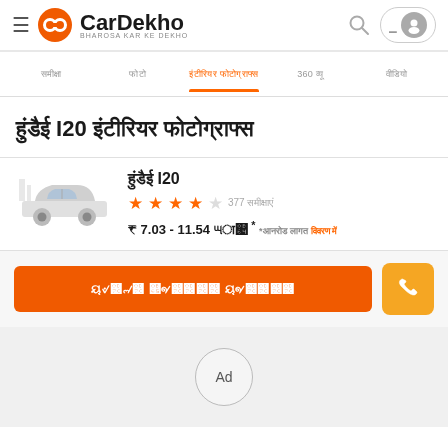CarDekho - BHAROSA KAR KE DEKHO
360 व्यू (active tab)
हुंडई I20 इंटीरियर फोटोग्राफ्स
हुंडई I20 - ★★★★☆ 377 समीक्षाएं - ₹ 7.03 - 11.54 लाख *
ऑनरोड प्राइस जानें
Ad